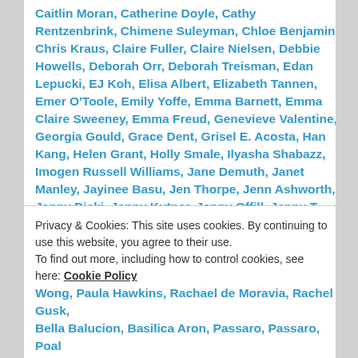Caitlin Moran, Catherine Doyle, Cathy Rentzenbrink, Chimene Suleyman, Chloe Benjamin, Chris Kraus, Claire Fuller, Claire Nielsen, Debbie Howells, Deborah Orr, Deborah Treisman, Edan Lepucki, EJ Koh, Elisa Albert, Elizabeth Tannen, Emer O'Toole, Emily Yoffe, Emma Barnett, Emma Claire Sweeney, Emma Freud, Genevieve Valentine, Georgia Gould, Grace Dent, Grisel E. Acosta, Han Kang, Helen Grant, Holly Smale, Ilyasha Shabazz, Imogen Russell Williams, Jane Demuth, Janet Manley, Jayinee Basu, Jen Thorpe, Jenn Ashworth, Jenny Diski, Jenny Kutner, Jenny Offill, Jenny T. Colgan, Jo Hogan, Jo Walton, Jodie Layne, Judith Wanga, Julie Guthman, K.T. Bradford, Kate Mayfield, Katharine Heiny, Katherine Heiny, Kathy Lette, Katie McDonough, Kaye Toal, Kelly Davio, Kelly Link, Kim Gordon, Kristin Chirico, Kristin Iverson, Laura Bates, Laura Hudson, Laura Miller, Laura Van den Berg, Laurie Becklund, Leesa Cross-Smith, Leila
Privacy & Cookies: This site uses cookies. By continuing to use this website, you agree to their use. To find out more, including how to control cookies, see here: Cookie Policy
Close and accept
Wong, Paula Hawkins, Rachael de Moravia, Rachel Gusk, Bella Balucion, Basilica Aron, Passaro, Passaro, Poal